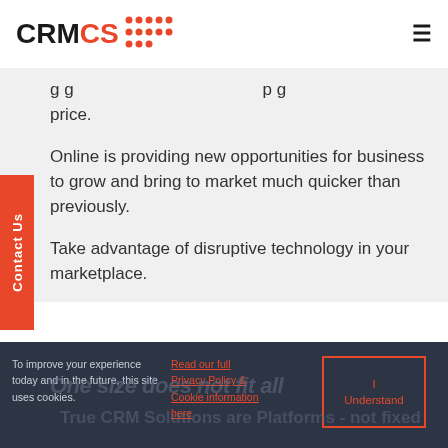[Figure (logo): CRMCS logo with red dot grid pattern and hamburger menu icon]
...ging... ...p... price.
Online is providing new opportunities for business to grow and bring to market much quicker than previously.
Take advantage of disruptive technology in your marketplace.
To improve your experience today and in the future, this site uses cookies.
Read our full Privacy Policy & Cookie information here
I Understand
One size does not fit all
True CRM Solutions are Platforms - not fixed